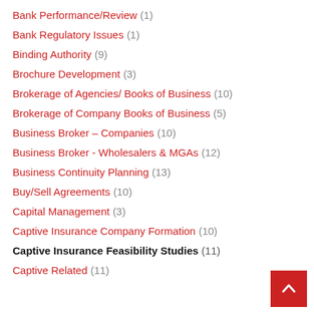Bank Performance/Review (1)
Bank Regulatory Issues (1)
Binding Authority (9)
Brochure Development (3)
Brokerage of Agencies/ Books of Business (10)
Brokerage of Company Books of Business (5)
Business Broker – Companies (10)
Business Broker - Wholesalers & MGAs (12)
Business Continuity Planning (13)
Buy/Sell Agreements (10)
Capital Management (3)
Captive Insurance Company Formation (10)
Captive Insurance Feasibility Studies (11)
Captive Related (11)